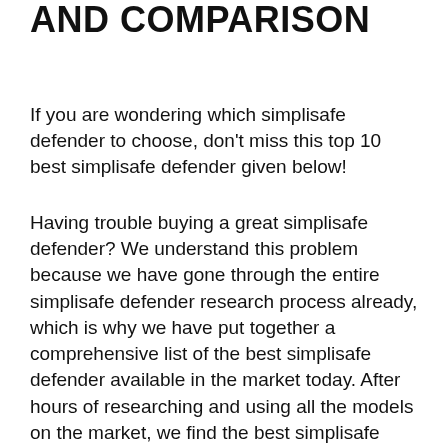AND COMPARISON
If you are wondering which simplisafe defender to choose, don't miss this top 10 best simplisafe defender given below!
Having trouble buying a great simplisafe defender? We understand this problem because we have gone through the entire simplisafe defender research process already, which is why we have put together a comprehensive list of the best simplisafe defender available in the market today. After hours of researching and using all the models on the market, we find the best simplisafe defender of 2022. Check out our ranking below!